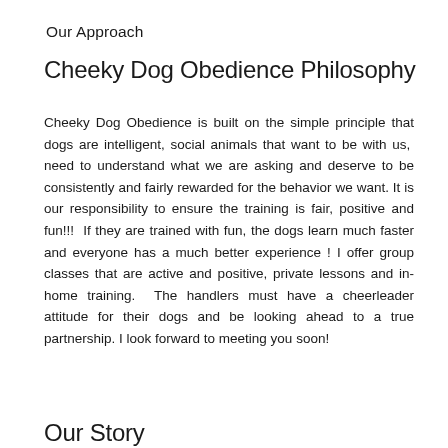Our Approach
Cheeky Dog Obedience Philosophy
Cheeky Dog Obedience is built on the simple principle that dogs are intelligent, social animals that want to be with us,  need to understand what we are asking and deserve to be consistently and fairly rewarded for the behavior we want. It is our responsibility to ensure the training is fair, positive and fun!!!  If they are trained with fun, the dogs learn much faster and everyone has a much better experience ! I offer group classes that are active and positive, private lessons and in-home training.  The handlers must have a cheerleader attitude for their dogs and be looking ahead to a true partnership. I look forward to meeting you soon!
Our Story